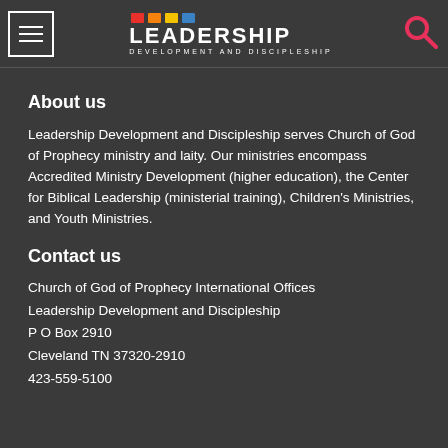LEADERSHIP DEVELOPMENT AND DISCIPLESHIP
About us
Leadership Development and Discipleship serves Church of God of Prophecy ministry and laity. Our ministries encompass Accredited Ministry Development (higher education), the Center for Biblical Leadership (ministerial training), Children's Ministries, and Youth Ministries.
Contact us
Church of God of Prophecy International Offices
Leadership Development and Discipleship
P O Box 2910
Cleveland TN 37320-2910
423-559-5100